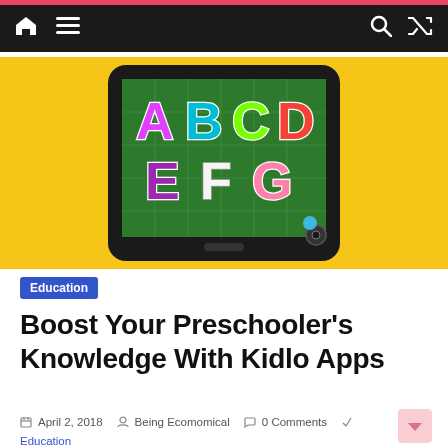Navigation bar with home, menu, search, and shuffle icons
[Figure (screenshot): A smartphone displaying a colorful kids alphabet app with letters A, B, C, D, E, F, G on a green background, surrounded by a yellow banner]
Education
Boost Your Preschooler’s Knowledge With Kidlo Apps
April 2, 2018   Being Ecomomical   0 Comments
Education